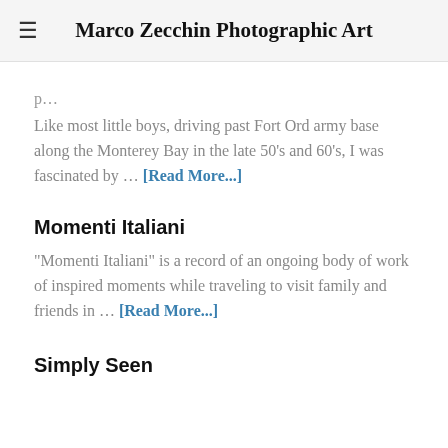Marco Zecchin Photographic Art
Like most little boys, driving past Fort Ord army base along the Monterey Bay in the late 50's and 60's, I was fascinated by … [Read More...]
Momenti Italiani
“Momenti Italiani” is a record of an ongoing body of work of inspired moments while traveling to visit family and friends in … [Read More...]
Simply Seen